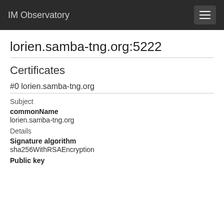IM Observatory
lorien.samba-tng.org:5222
Certificates
#0 lorien.samba-tng.org
Subject
commonName
lorien.samba-tng.org
Details
Signature algorithm
sha256WithRSAEncryption
Public key